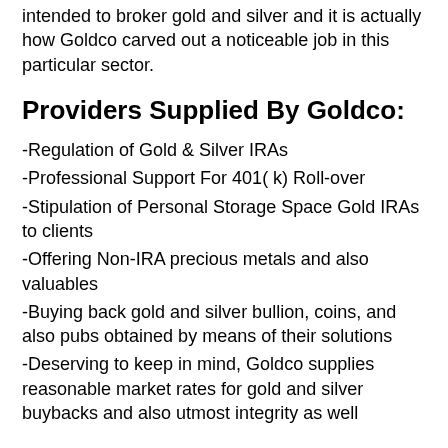intended to broker gold and silver and it is actually how Goldco carved out a noticeable job in this particular sector.
Providers Supplied By Goldco:
-Regulation of Gold & Silver IRAs
-Professional Support For 401( k) Roll-over
-Stipulation of Personal Storage Space Gold IRAs to clients
-Offering Non-IRA precious metals and also valuables
-Buying back gold and silver bullion, coins, and also pubs obtained by means of their solutions
-Deserving to keep in mind, Goldco supplies reasonable market rates for gold and silver buybacks and also utmost integrity as well